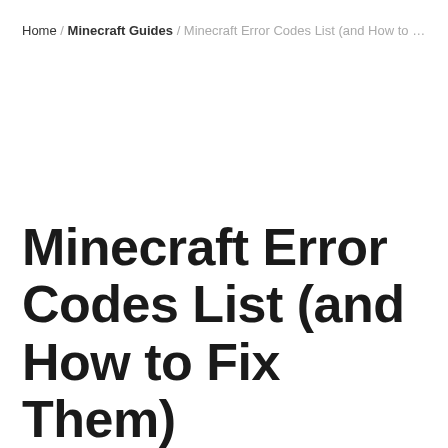Home / Minecraft Guides / Minecraft Error Codes List (and How to Fi...
Minecraft Error Codes List (and How to Fix Them)